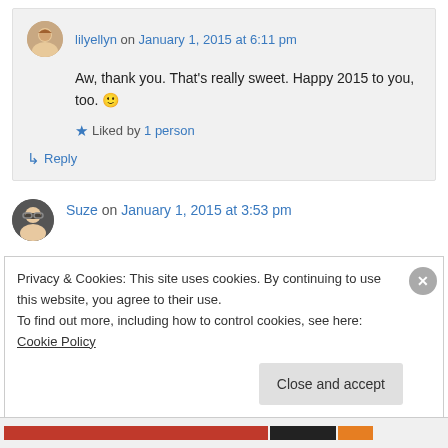lilyellyn on January 1, 2015 at 6:11 pm
Aw, thank you. That's really sweet. Happy 2015 to you, too. 🙂
Liked by 1 person
↳ Reply
Suze on January 1, 2015 at 3:53 pm
Privacy & Cookies: This site uses cookies. By continuing to use this website, you agree to their use. To find out more, including how to control cookies, see here: Cookie Policy
Close and accept